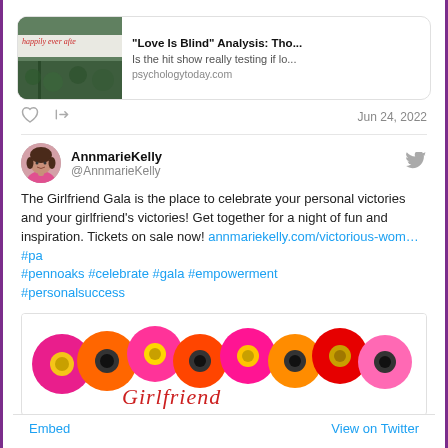[Figure (screenshot): Article card preview with thumbnail image of sign saying 'happily ever afte...' and article title 'Love Is Blind Analysis: Tho...' from psychologytoday.com]
Jun 24, 2022
AnnmarieKelly @AnnmarieKelly
The Girlfriend Gala is the place to celebrate your personal victories and your girlfriend's victories!  Get together for a night of fun and inspiration. Tickets on sale now! annmariekelly.com/victorious-wom…#pa #pennoaks #celebrate #gala #empowerment #personalsuccess
[Figure (photo): Colorful gerbera daisies in pink, orange, and red arranged across the top of an event flyer. Cursive text reading 'Girlfriend' visible at bottom.]
Embed    View on Twitter